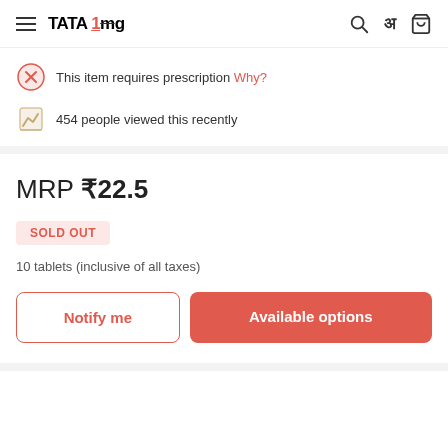TATA 1mg
This item requires prescription Why?
454 people viewed this recently
MRP ₹22.5
SOLD OUT
10 tablets (inclusive of all taxes)
Notify me
Available options